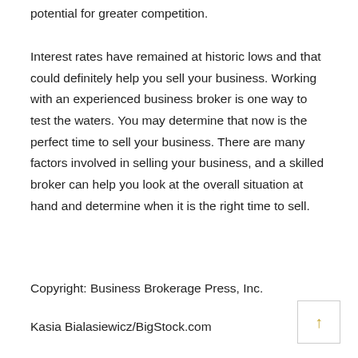potential for greater competition.
Interest rates have remained at historic lows and that could definitely help you sell your business. Working with an experienced business broker is one way to test the waters. You may determine that now is the perfect time to sell your business. There are many factors involved in selling your business, and a skilled broker can help you look at the overall situation at hand and determine when it is the right time to sell.
Copyright: Business Brokerage Press, Inc.
Kasia Bialasiewicz/BigStock.com